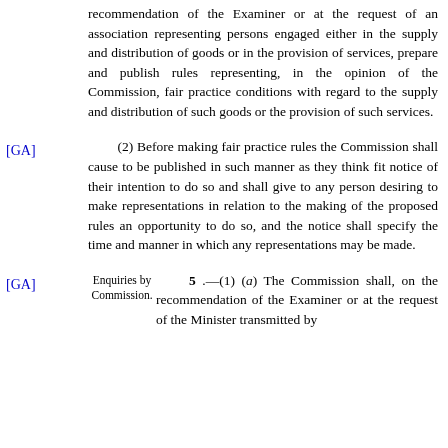recommendation of the Examiner or at the request of an association representing persons engaged either in the supply and distribution of goods or in the provision of services, prepare and publish rules representing, in the opinion of the Commission, fair practice conditions with regard to the supply and distribution of such goods or the provision of such services.
[GA]
(2) Before making fair practice rules the Commission shall cause to be published in such manner as they think fit notice of their intention to do so and shall give to any person desiring to make representations in relation to the making of the proposed rules an opportunity to do so, and the notice shall specify the time and manner in which any representations may be made.
[GA]
Enquiries by Commission.
5 .—(1) (a) The Commission shall, on the recommendation of the Examiner or at the request of the Minister transmitted by